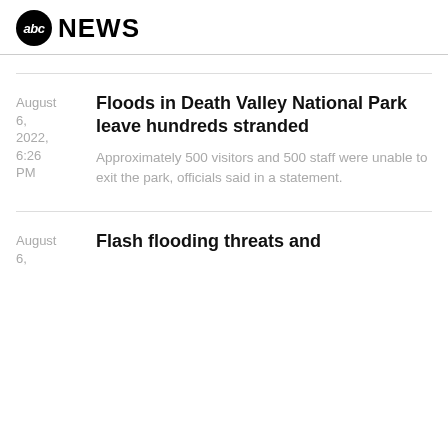abc NEWS
August 6, 2022, 6:26 PM – Floods in Death Valley National Park leave hundreds stranded – Approximately 500 visitors and 500 staff were unable to exit the park, officials said in a statement.
August 6 – Flash flooding threats and